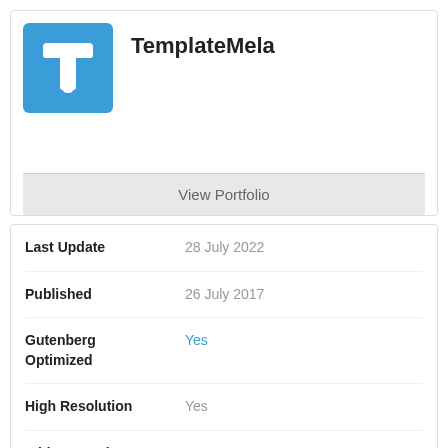[Figure (logo): TemplateMela logo: blue square with white T-shaped icon]
TemplateMela
View Portfolio
| Field | Value |
| --- | --- |
| Last Update | 28 July 2022 |
| Published | 26 July 2017 |
| Gutenberg Optimized | Yes |
| High Resolution | Yes |
| Widget Ready | Yes |
| Compatible Browsers | IE11, Firefox, Safari, Opera, Chrome, Edge |